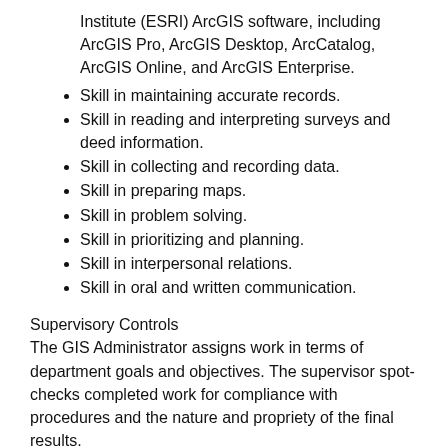Institute (ESRI) ArcGIS software, including ArcGIS Pro, ArcGIS Desktop, ArcCatalog, ArcGIS Online, and ArcGIS Enterprise.
Skill in maintaining accurate records.
Skill in reading and interpreting surveys and deed information.
Skill in collecting and recording data.
Skill in preparing maps.
Skill in problem solving.
Skill in prioritizing and planning.
Skill in interpersonal relations.
Skill in oral and written communication.
Supervisory Controls
The GIS Administrator assigns work in terms of department goals and objectives. The supervisor spot-checks completed work for compliance with procedures and the nature and propriety of the final results.
Guidelines
Guidelines include federal, state, and local laws; city and county ordinances and regulations; USPS